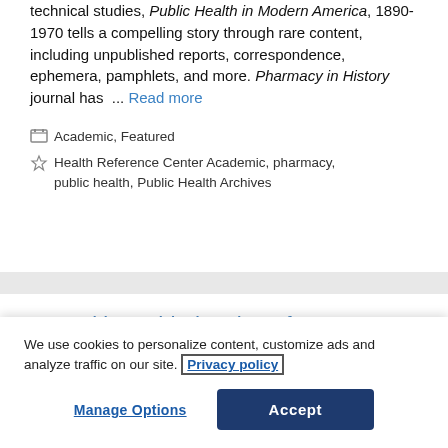technical studies, Public Health in Modern America, 1890-1970 tells a compelling story through rare content, including unpublished reports, correspondence, ephemera, pamphlets, and more. Pharmacy in History journal has ... Read more
Categories: Academic, Featured
Tags: Health Reference Center Academic, pharmacy, public health, Public Health Archives
New Titles Added to the InfoTrac
We use cookies to personalize content, customize ads and analyze traffic on our site. Privacy policy